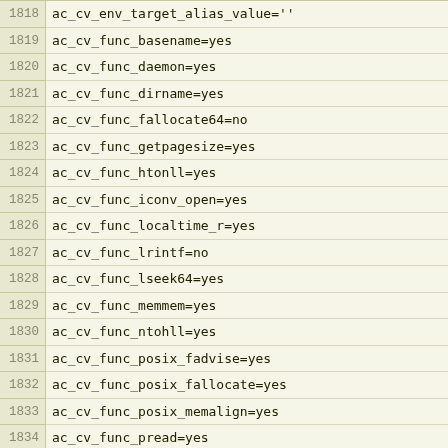1818 ac_cv_env_target_alias_value=''
1819 ac_cv_func_basename=yes
1820 ac_cv_func_daemon=yes
1821 ac_cv_func_dirname=yes
1822 ac_cv_func_fallocate64=no
1823 ac_cv_func_getpagesize=yes
1824 ac_cv_func_htonll=yes
1825 ac_cv_func_iconv_open=yes
1826 ac_cv_func_localtime_r=yes
1827 ac_cv_func_lrintf=no
1828 ac_cv_func_lseek64=yes
1829 ac_cv_func_memmem=yes
1830 ac_cv_func_ntohll=yes
1831 ac_cv_func_posix_fadvise=yes
1832 ac_cv_func_posix_fallocate=yes
1833 ac_cv_func_posix_memalign=yes
1834 ac_cv_func_pread=yes
1835 ac_cv_func_pwrite=yes
1836 ac_cv_func_statvfs=yes
1837 ac_cv_func_strcasecmp=yes
1838 ac_cv_func_strlcpy=yes
1839 ac_cv_func_strsep=yes
1840 ac_cv_func_strtold=yes
1841 ac_cv_func_syslog=yes
1842 ac_cv_func_valloc=yes
1843 ac_cv_have_decl_posix_fadvise=yes
1844 ac_cv_header__tmp_dummy1_zlib_h=yes
1845 ac_cv_header_dlfcn_h=yes
1846 ac_cv_header_inttypes_h=yes
1847 ac_cv_header_memory_h=yes
1848 ac_cv_header_stdbool_h=yes
1849 ac_cv_header_stdc=yes